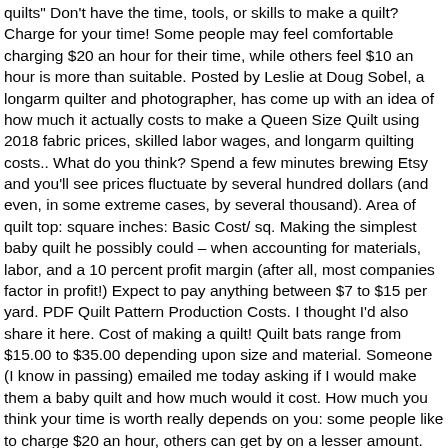quilts" Don't have the time, tools, or skills to make a quilt? Charge for your time! Some people may feel comfortable charging $20 an hour for their time, while others feel $10 an hour is more than suitable. Posted by Leslie at Doug Sobel, a longarm quilter and photographer, has come up with an idea of how much it actually costs to make a Queen Size Quilt using 2018 fabric prices, skilled labor wages, and longarm quilting costs.. What do you think? Spend a few minutes brewing Etsy and you'll see prices fluctuate by several hundred dollars (and even, in some extreme cases, by several thousand). Area of quilt top: square inches: Basic Cost/ sq. Making the simplest baby quilt he possibly could – when accounting for materials, labor, and a 10 percent profit margin (after all, most companies factor in profit!) Expect to pay anything between $7 to $15 per yard. PDF Quilt Pattern Production Costs. I thought I'd also share it here. Cost of making a quilt! Quilt bats range from $15.00 to $35.00 depending upon size and material. Someone (I know in passing) emailed me today asking if I would make them a baby quilt and how much would it cost. How much you think your time is worth really depends on you: some people like to charge $20 an hour, others can get by on a lesser amount. How Much Does a T-Shirt Quilt Cost? I've seen formulas to price things at 3 times your cost